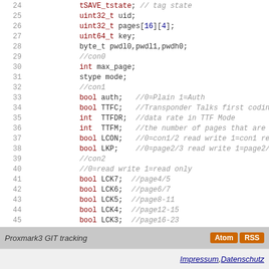[Figure (screenshot): Code listing showing lines 24-51 of a C struct definition for Proxmark3, with line numbers, keywords in dark red, comments in gray italic, and link-style numbers in blue.]
Proxmark3 GIT tracking  Atom RSS
Impressum, Datenschutz